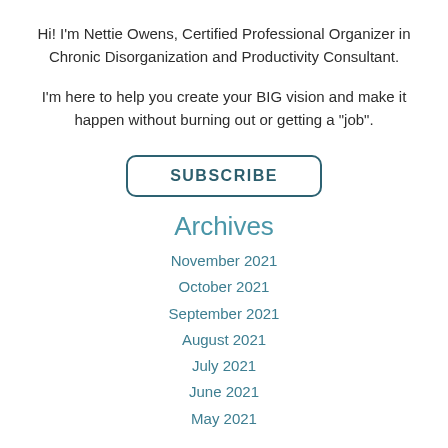Hi!  I'm Nettie Owens, Certified Professional Organizer in Chronic Disorganization and Productivity Consultant.
I'm here to help you create your BIG vision and make it happen without burning out or getting a "job".
SUBSCRIBE
Archives
November 2021
October 2021
September 2021
August 2021
July 2021
June 2021
May 2021